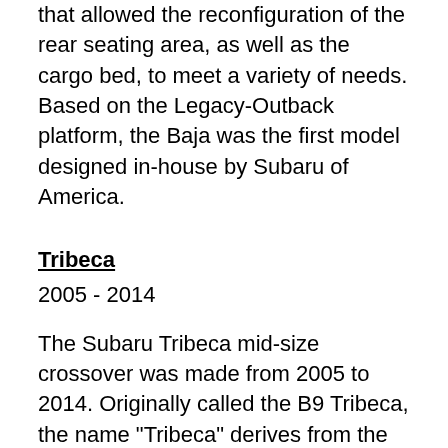that allowed the reconfiguration of the rear seating area, as well as the cargo bed, to meet a variety of needs. Based on the Legacy-Outback platform, the Baja was the first model designed in-house by Subaru of America.
Tribeca
2005 - 2014
The Subaru Tribeca mid-size crossover was made from 2005 to 2014. Originally called the B9 Tribeca, the name "Tribeca" derives from the neighborhood of New York City. Tribeca was sold in five- and seven-seat configurations. Produced at SIA in Indiana, Tribeca was developed as a joint-project with GM, with the partner model to be sold as a Saab - however the Saab model was not released. Featuring polarizing design, the model was quickly found to be too small for